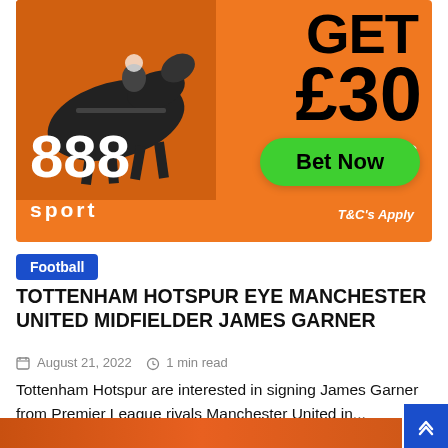[Figure (illustration): 888sport advertisement banner on orange background with horse racing image, showing GET £30 in Free Bets with a green Bet Now button and T&C's Apply text]
Football
TOTTENHAM HOTSPUR EYE MANCHESTER UNITED MIDFIELDER JAMES GARNER
August 21, 2022  1 min read
Tottenham Hotspur are interested in signing James Garner from Premier League rivals Manchester United in...
[Figure (photo): Partial bottom strip showing another image, appears orange/sports related]